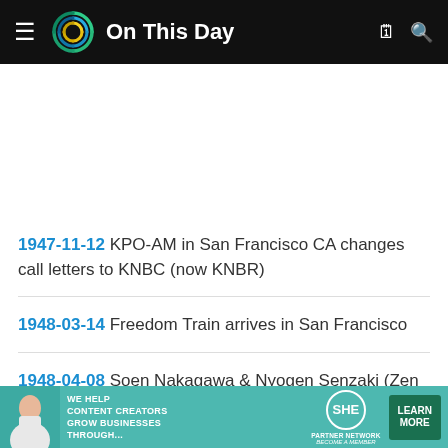On This Day
1947-11-12 KPO-AM in San Francisco CA changes call letters to KNBC (now KNBR)
1948-03-14 Freedom Train arrives in San Francisco
1948-04-08 Soen Nakagawa & Nyogen Senzaki (Zen teachers) meet in San Francisco
[Figure (infographic): SHE Media Partner Network advertisement banner — 'We help content creators grow businesses through...' with Learn More button]